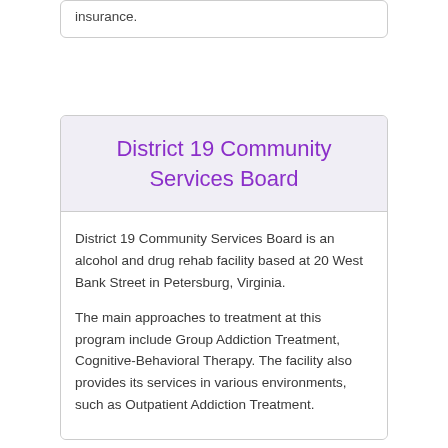insurance.
District 19 Community Services Board
District 19 Community Services Board is an alcohol and drug rehab facility based at 20 West Bank Street in Petersburg, Virginia.
The main approaches to treatment at this program include Group Addiction Treatment, Cognitive-Behavioral Therapy. The facility also provides its services in various environments, such as Outpatient Addiction Treatment.